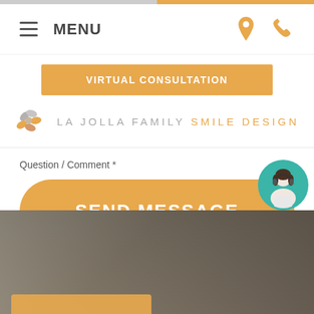MENU
VIRTUAL CONSULTATION
[Figure (logo): La Jolla Family Smile Design logo with flower icon and text]
Question / Comment *
SEND MESSAGE
[Figure (photo): Chat support avatar - woman with headset on teal circular background]
[Figure (photo): Blurred dental office background image at bottom of page]